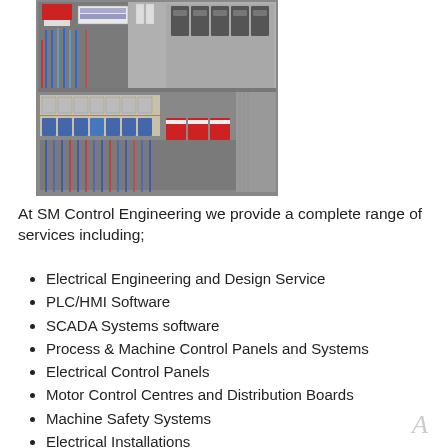[Figure (photo): Close-up photo of an electrical control panel interior showing circuit breakers, wiring, relays, and components mounted on a grey metal enclosure. Red and blue wires visible, along with multiple terminal components and circuit breakers.]
At SM Control Engineering we provide a complete range of services including;
Electrical Engineering and Design Service
PLC/HMI Software
SCADA Systems software
Process & Machine Control Panels and Systems
Electrical Control Panels
Motor Control Centres and Distribution Boards
Machine Safety Systems
Electrical Installations
Electrical and Software Commissioning